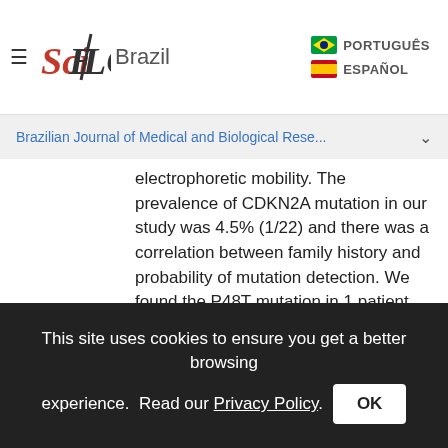SciELO Brazil — PORTUGUÊS / ESPAÑOL
Brazilian Journal of Medical and Biological Rese...
electrophoretic mobility. The prevalence of CDKN2A mutation in our study was 4.5% (1/22) and there was a correlation between family history and probability of mutation detection. We found the P48T mutation in 1 patient with 2 melanoma-affected relatives. The patient descends from Italian families and this mutation has been reported previously only in Italian families in two independent studies. This leads us to suggest the presence of a mutational "hotspot" within this gene or a founder mutation. We also detected a high prevalence (59.1%) of polymorphisms, mainly
This site uses cookies to ensure you get a better browsing experience. Read our Privacy Policy.